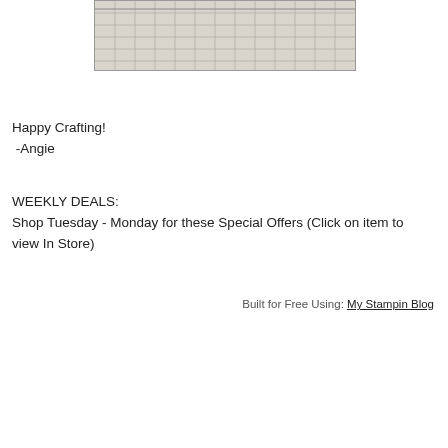[Figure (photo): Photo of a gray grid/graph paper or craft mat, partially cropped, showing a beige/gray surface with a light grid pattern.]
Happy Crafting!
 -Angie
WEEKLY DEALS:
Shop Tuesday - Monday for these Special Offers (Click on item to view In Store)
Built for Free Using: My Stampin Blog